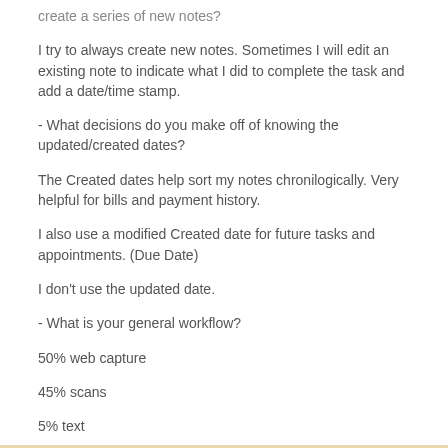create a series of new notes?
I try to always create new notes. Sometimes I will edit an existing note to indicate what I did to complete the task and add a date/time stamp.
- What decisions do you make off of knowing the updated/created dates?
The Created dates help sort my notes chronilogically. Very helpful for bills and payment history.
I also use a modified Created date for future tasks and appointments. (Due Date)
I don't use the updated date.
- What is your general workflow?
50% web capture
45% scans
5% text